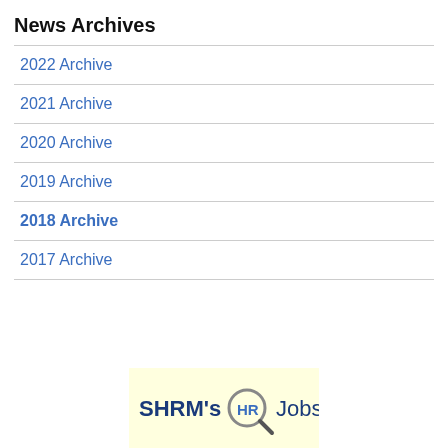News Archives
2022 Archive
2021 Archive
2020 Archive
2019 Archive
2018 Archive
2017 Archive
[Figure (logo): SHRM's HR Jobs logo with a magnifying glass over 'HR' text on a light yellow background]